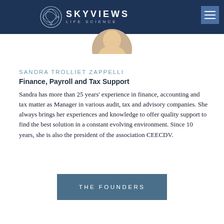SKYVIEWS LIFE SCIENCE
[Figure (photo): Partial circular portrait photo of Sandra Trolliet Zappelli at top of page]
SANDRA TROLLIET ZAPPELLI
Finance, Payroll and Tax Support
Sandra has more than 25 years' experience in finance, accounting and tax matter as Manager in various audit, tax and advisory companies. She always brings her experiences and knowledge to offer quality support to find the best solution in a constant evolving environment. Since 10 years, she is also the president of the association CEECDV.
THE FOUNDERS